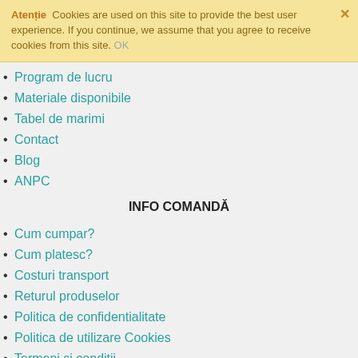Atenție  Cookies are used on this site to provide the best user experience. If you continue, we assume that you agree to receive cookies from this site. OK
Program de lucru
Materiale disponibile
Tabel de marimi
Contact
Blog
ANPC
INFO COMANDĂ
Cum cumpar?
Cum platesc?
Costuri transport
Returul produselor
Politica de confidentialitate
Politica de utilizare Cookies
Termeni si conditii
Contul meu